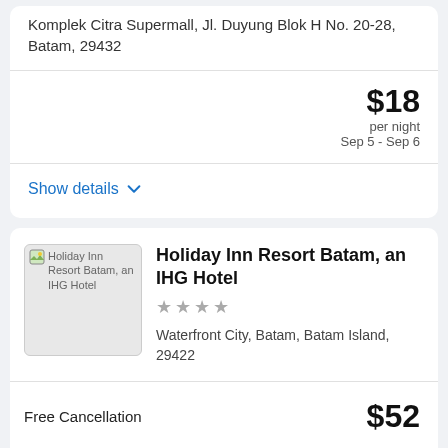Komplek Citra Supermall, Jl. Duyung Blok H No. 20-28, Batam, 29432
$18 per night Sep 5 - Sep 6
Show details
Holiday Inn Resort Batam, an IHG Hotel
★★★★
Waterfront City, Batam, Batam Island, 29422
Free Cancellation
$52
Choose your dates